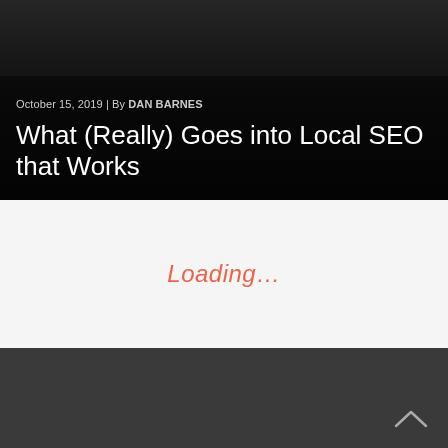[Figure (photo): Dark hero image background with a person holding a phone, partially visible at the top. Dark overlay covers the lower portion.]
October 15, 2019 | By DAN BARNES
What (Really) Goes into Local SEO that Works
Loading...
[Figure (other): Dark footer bar with a back-to-top chevron arrow icon in the bottom right corner.]